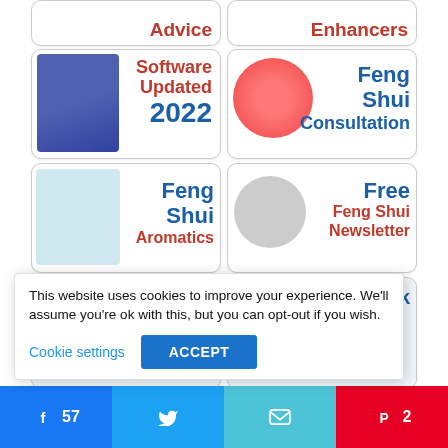[Figure (screenshot): Navigation tile: Advice with circular image]
[Figure (screenshot): Navigation tile: Enhancers with icon]
[Figure (screenshot): Navigation tile: Software Updated 2022]
[Figure (screenshot): Navigation tile: Feng Shui Consultation]
[Figure (screenshot): Navigation tile: Feng Shui Aromatics]
[Figure (screenshot): Navigation tile: Free Feng Shui Newsletter]
[Figure (screenshot): Navigation tile: Testimonials]
[Figure (screenshot): Navigation tile: Facebook]
This website uses cookies to improve your experience. We'll assume you're ok with this, but you can opt-out if you wish.
Cookie settings
ACCEPT
57
2